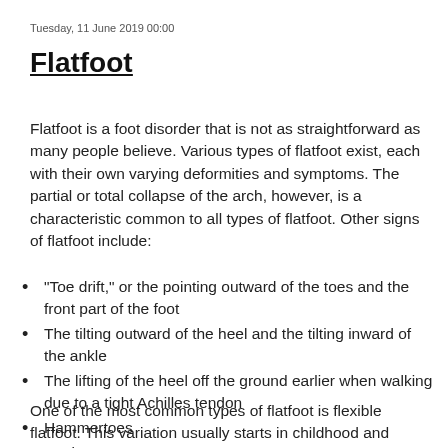Tuesday, 11 June 2019 00:00
Flatfoot
Flatfoot is a foot disorder that is not as straightforward as many people believe.  Various types of flatfoot exist, each with their own varying deformities and symptoms.  The partial or total collapse of the arch, however, is a characteristic common to all types of flatfoot.  Other signs of flatfoot include:
"Toe drift," or the pointing outward of the toes and the front part of the foot
The tilting outward of the heel and the tilting inward of the ankle
The lifting of the heel off the ground earlier when walking due to a tight Achilles tendon
Hammertoes
Bunions
One of the most common types of flatfoot is flexible flatfoot.  This variation usually starts in childhood and